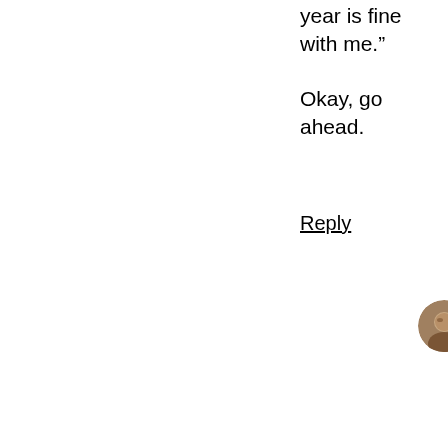year is fine with me."
Okay, go ahead.
Reply
William says: December 15, 2012 at 12:36 PM
That’s a flawed comparison. Someone dying in a car accident is way different than someone going into a theater or a school armed and ready to kill.
Reply